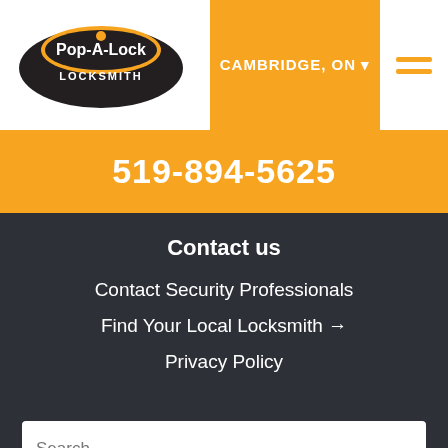[Figure (logo): Pop-A-Lock Locksmith logo in dark oval shape with orange and white text]
CAMBRIDGE, ON ▾
519-894-5625
Contact us
Contact Security Professionals
Find Your Local Locksmith →
Privacy Policy
Search …
Search